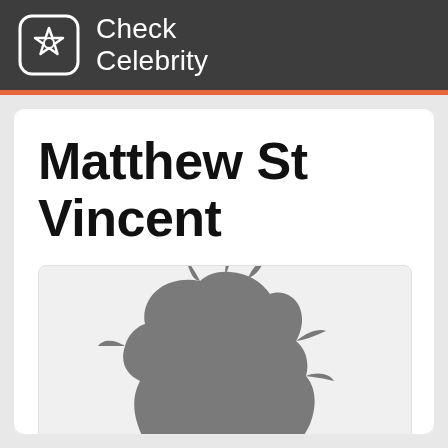Check Celebrity
Matthew St Vincent
[Figure (illustration): Generic silhouette placeholder image of a person with stylized hair, gray color, representing an unknown celebrity profile photo]